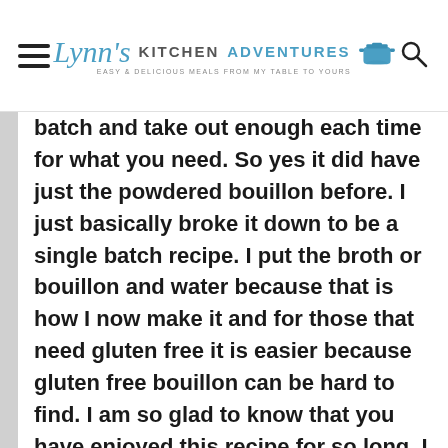Lynn's Kitchen Adventures — Easy & Delicious Meals From My Table To Yours
batch and take out enough each time for what you need. So yes it did have just the powdered bouillon before. I just basically broke it down to be a single batch recipe. I put the broth or bouillon and water because that is how I now make it and for those that need gluten free it is easier because gluten free bouillon can be hard to find. I am so glad to know that you have enjoyed this recipe for so long. I